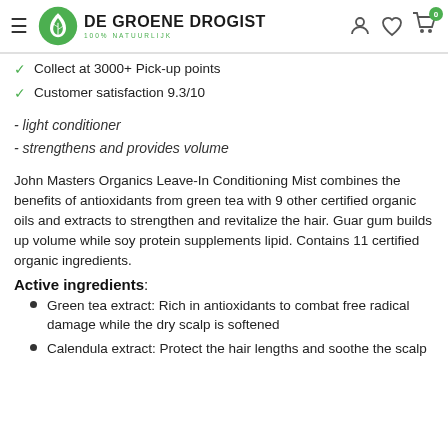DE GROENE DROGIST
Collect at 3000+ Pick-up points
Customer satisfaction 9.3/10
- light conditioner
- strengthens and provides volume
John Masters Organics Leave-In Conditioning Mist combines the benefits of antioxidants from green tea with 9 other certified organic oils and extracts to strengthen and revitalize the hair. Guar gum builds up volume while soy protein supplements lipid. Contains 11 certified organic ingredients.
Active ingredients:
Green tea extract: Rich in antioxidants to combat free radical damage while the dry scalp is softened
Calendula extract: Protect the hair lengths and soothe the scalp